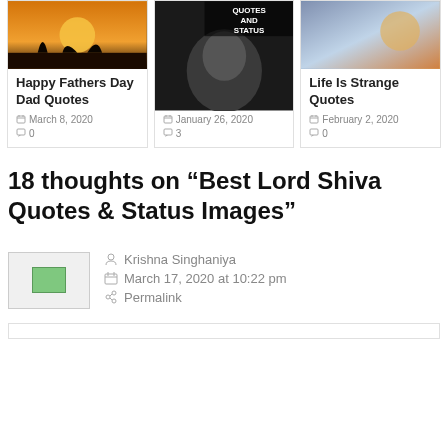[Figure (photo): Three silhouetted people at sunset - fathers day image]
Happy Fathers Day Dad Quotes
March 8, 2020
0
[Figure (photo): Man's face in shadow with text QUOTES AND STATUS]
Tit For Tat Quotes & Status
January 26, 2020
3
[Figure (photo): Purple sunset sky image]
Life Is Strange Quotes
February 2, 2020
0
18 thoughts on “Best Lord Shiva Quotes & Status Images”
Krishna Singhaniya
March 17, 2020 at 10:22 pm
Permalink